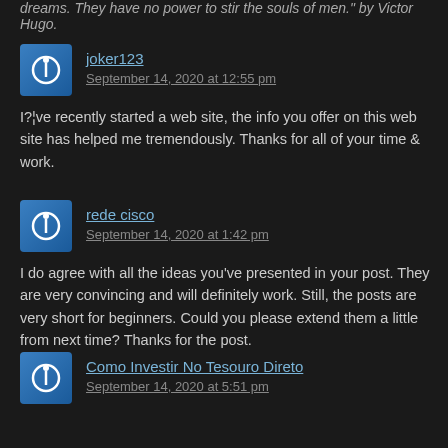dreams. They have no power to stir the souls of men." by Victor Hugo.
joker123
September 14, 2020 at 12:55 pm
I?¦ve recently started a web site, the info you offer on this web site has helped me tremendously. Thanks for all of your time & work.
rede cisco
September 14, 2020 at 1:42 pm
I do agree with all the ideas you've presented in your post. They are very convincing and will definitely work. Still, the posts are very short for beginners. Could you please extend them a little from next time? Thanks for the post.
Como Investir No Tesouro Direto
September 14, 2020 at 5:51 pm
It is really a great and useful piece of information. I am satisfied that you shared this helpful info with us. Please stay us informed like this. Thanks for sharing.